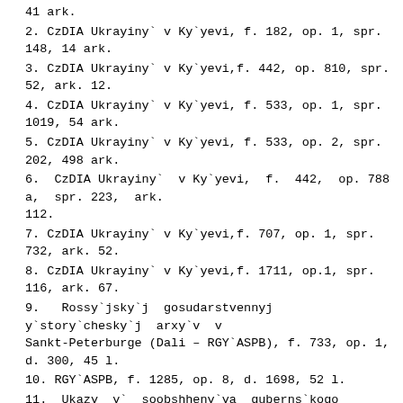41 ark.
2. CzDIA Ukrayiny` v Ky`yevi, f. 182, op. 1, spr. 148, 14 ark.
3. CzDIA Ukrayiny` v Ky`yevi,f. 442, op. 810, spr. 52, ark. 12.
4. CzDIA Ukrayiny` v Ky`yevi, f. 533, op. 1, spr. 1019, 54 ark.
5. CzDIA Ukrayiny` v Ky`yevi, f. 533, op. 2, spr. 202, 498 ark.
6. CzDIA Ukrayiny` v Ky`yevi, f. 442, op. 788 a, spr. 223, ark. 112.
7. CzDIA Ukrayiny` v Ky`yevi,f. 707, op. 1, spr. 732, ark. 52.
8. CzDIA Ukrayiny` v Ky`yevi,f. 1711, op.1, spr. 116, ark. 67.
9. Rossy`jsky`j gosudarstvennyj y`story`chesky`j arxy`v v Sankt-Peterburge (Dali – RGY`ASPB), f. 733, op. 1, d. 300, 45 l.
10. RGY`ASPB, f. 1285, op. 8, d. 1698, 52 l.
11. Ukazy y` soobshheny`ya guberns`kogo pravleny`ya // Podol`sky`e gubernsky` evedomosty` Dali – PEV). Chast` ofy`cy`al`naya. 1838 goda. # 46. – S. 514-515.
12. Zapy`sky` ukray`ncza y`z vremeny` pol`s`kogo vozstany`ya 1861-1864 goda. – K.: Uny`ver.ty`pografy`ya, 1869. – 61+68+40+42 s.
13. Kamenecz-Podol`skayagy`mnazy`ya. Y`story`cheskaya zapy`ska o pyaty`desyaty`letnem ee sushhestvovany`y` (1833-1883): v 2-x ch. s pry`lozh. / Sost. Y`. My`xalevy`ch. – KameneczPodol`sk, 1883. – 180 s.
15. Lew`szky`j O. Y`z zhy`zny` uchebnyx zavedeny`j Yugo-